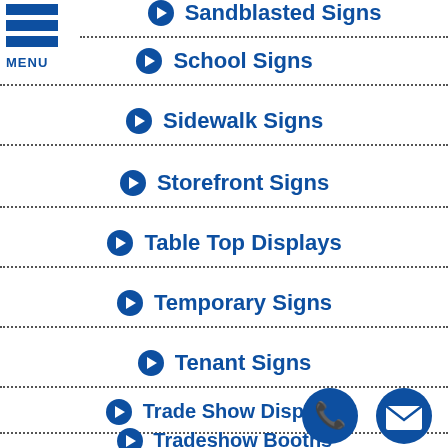Sandblasted Signs
School Signs
Sidewalk Signs
Storefront Signs
Table Top Displays
Temporary Signs
Tenant Signs
Trade Show Displays
Tradeshow Booths
[Figure (illustration): Menu hamburger icon with three horizontal blue bars and MENU label]